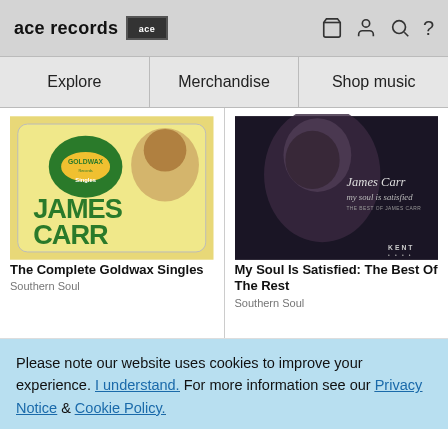ace records [logo] — icons: basket, person, search, help
Explore
Merchandise
Shop music
[Figure (illustration): Album cover: The Complete Goldwax Singles – James Carr. Yellow/green background with large green text JAMES CARR and Goldwax Records logo badge.]
The Complete Goldwax Singles
Southern Soul
[Figure (illustration): Album cover: My Soul Is Satisfied – The Best Of James Carr. Dark moody photo of James Carr in profile with text 'James Carr my soul is satisfied THE BEST OF JAMES CARR' and KENT logo at bottom right.]
My Soul Is Satisfied: The Best Of The Rest
Southern Soul
Please note our website uses cookies to improve your experience. I understand. For more information see our Privacy Notice & Cookie Policy.